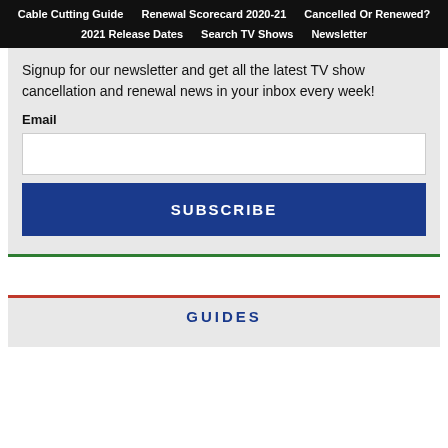Cable Cutting Guide   Renewal Scorecard 2020-21   Cancelled Or Renewed?   2021 Release Dates   Search TV Shows   Newsletter
Signup for our newsletter and get all the latest TV show cancellation and renewal news in your inbox every week!
Email
SUBSCRIBE
GUIDES